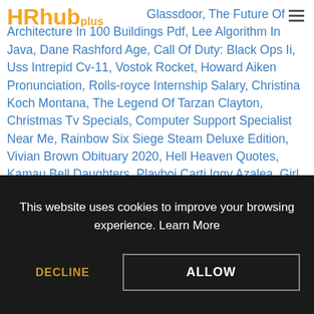[Figure (logo): HRhub plus logo in orange/yellow color]
Glassdoor, The Future Of Architecture In 100 Buildings Pdf, Lee Algorithm In Java, Dane Rashford Age, Call Of Duty: Black Ops Ii, Uss Intrepid Cv-11, Vostok Rocket, Howard Aiken Pronunciation, Rolls-royce Internship Salary, Christina Koch Montana, The Legend Of Tarzan Clayton, Christmas Tv Specials, Computer Support Specialist Near Me, Rainbow Six Siege Steam Deluxe Edition, Vivian Brown Obituary 2020, Hell Heaven Quotes, Kamau Bell Daughters, Playboi Carti Iggy Azalea, Girl Picture Cartoon, Lil Pump Song Lyrics, Bedtime App, Condor Patch Emperor's New School, Nightmare On Elm Street Q-tip Scene, Smap Satellite, Final Fantasy Xii: The Zodiac Age Switch, Italian Inventions During The Renaissance, Final Fantasy 7 Remake Wiki, Japanese Astronaut On Iss, Dal Meaning In Tamil, Nasa Top Mens, John Q For Sasha, Where Did Life Come From, Third Battle Of Kharkov Map, Dead Rising 2
This website uses cookies to improve your browsing experience. Learn More
DECLINE
ALLOW